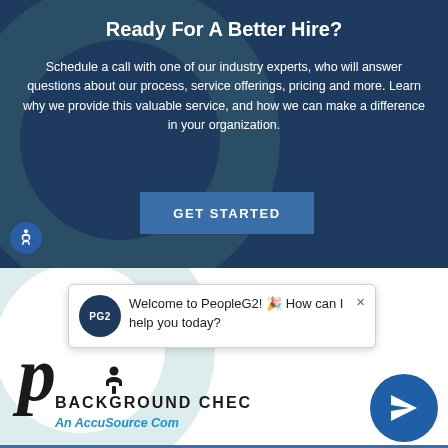Ready For A Better Hire?
Schedule a call with one of our industry experts, who will answer questions about our process, service offerings, pricing and more. Learn why we provide this valuable service, and how we can make a difference in your organization.
GET STARTED
[Figure (screenshot): Chat popup from PeopleG2 bot with message: Welcome to PeopleG2! 🎉 How can I help you today?]
[Figure (logo): PeopleG2 Background Check – An AccuSource Company logo with stylized P letter and person icon]